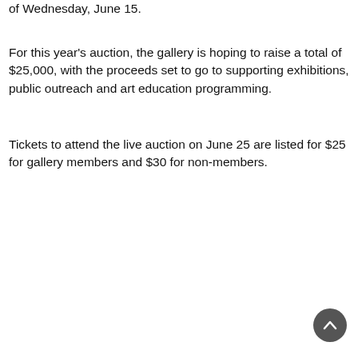of Wednesday, June 15.
For this year’s auction, the gallery is hoping to raise a total of $25,000, with the proceeds set to go to supporting exhibitions, public outreach and art education programming.
Tickets to attend the live auction on June 25 are listed for $25 for gallery members and $30 for non-members.
[Figure (other): Scroll-to-top button, a dark circular button with an upward chevron arrow icon, positioned in the bottom-right corner.]